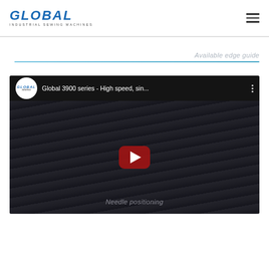GLOBAL INDUSTRIAL SEWING MACHINES
Available edge guide
[Figure (screenshot): YouTube video thumbnail for 'Global 3900 series - High speed, sin...' showing a dark background with sewing machine close-up, a red YouTube play button in the center, and 'Needle positioning' text at the bottom.]